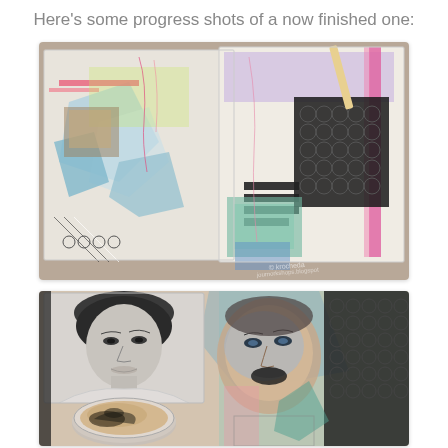Here's some progress shots of a now finished one:
[Figure (photo): Top-down view of an art journal spread showing colorful mixed media collage pages with drips, stamps, painted papers, black circle patterns, stripes and various art materials on a cluttered desk.]
[Figure (photo): Close-up progress shot of an art journal page featuring a black and white portrait photo of a woman, alongside a painted mixed media face, a tin of white paint or gesso, and decorative elements including black circle patterns and colorful background papers.]